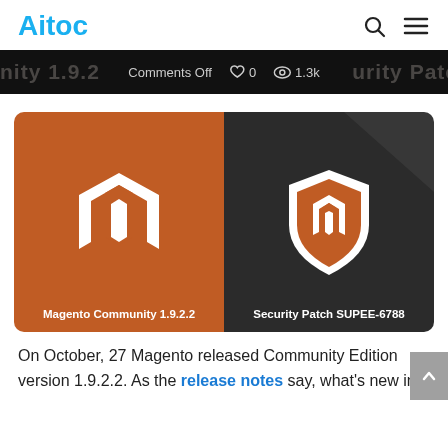Aitoc
Comments Off  0  1.3k
[Figure (illustration): Split image showing Magento Community 1.9.2.2 logo on orange background (left) and Security Patch SUPEE-6788 shield logo on dark background (right)]
On October, 27 Magento released Community Edition version 1.9.2.2. As the release notes say, what’s new in